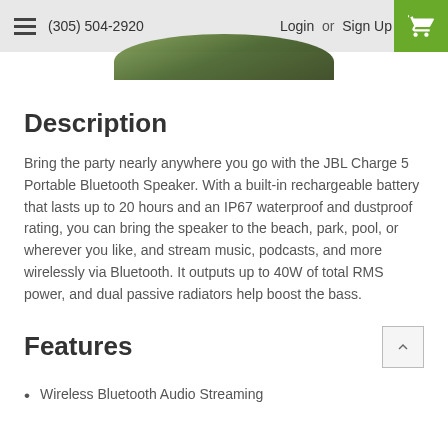(305) 504-2920  Login or Sign Up
[Figure (photo): Partial product image of JBL Charge 5 speaker top edge, green/camo color, visible at top of page]
Description
Bring the party nearly anywhere you go with the JBL Charge 5 Portable Bluetooth Speaker. With a built-in rechargeable battery that lasts up to 20 hours and an IP67 waterproof and dustproof rating, you can bring the speaker to the beach, park, pool, or wherever you like, and stream music, podcasts, and more wirelessly via Bluetooth. It outputs up to 40W of total RMS power, and dual passive radiators help boost the bass.
Features
Wireless Bluetooth Audio Streaming